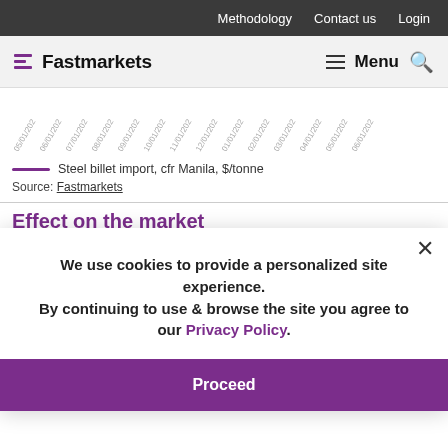Methodology  Contact us  Login
[Figure (logo): Fastmarkets logo with purple icon and bold text]
[Figure (continuous-plot): Line chart showing Steel billet import, cfr Manila, $/tonne over time from 05/01/202x to 06/01/202x with dates on x-axis]
Steel billet import, cfr Manila, $/tonne
Source: Fastmarkets
Effect on the market
A de... heard closed at $690... Philippines late last week. Offers on the billet made by the mill were heard at $690 per tonne cfr Manila on ...both for late-July shipment.
We use cookies to provide a personalized site experience.
By continuing to use & browse the site you agree to our Privacy Policy.
Proceed